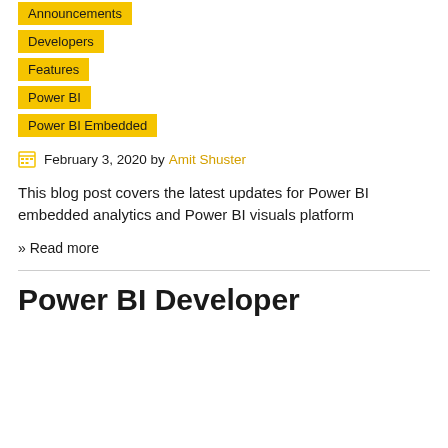Announcements
Developers
Features
Power BI
Power BI Embedded
February 3, 2020 by Amit Shuster
This blog post covers the latest updates for Power BI embedded analytics and Power BI visuals platform
» Read more
Power BI Developer